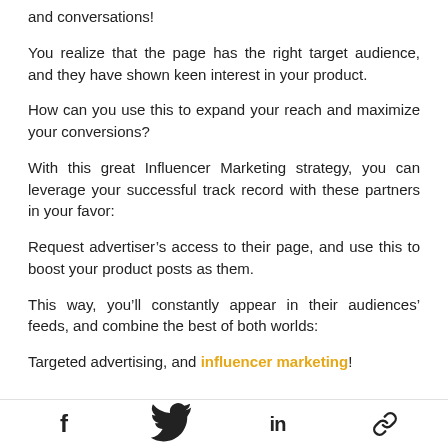and conversations!
You realize that the page has the right target audience, and they have shown keen interest in your product.
How can you use this to expand your reach and maximize your conversions?
With this great Influencer Marketing strategy, you can leverage your successful track record with these partners in your favor:
Request advertiser’s access to their page, and use this to boost your product posts as them.
This way, you’ll constantly appear in their audiences’ feeds, and combine the best of both worlds:
Targeted advertising, and influencer marketing!
f  •  Twitter bird  •  in  •  link icon